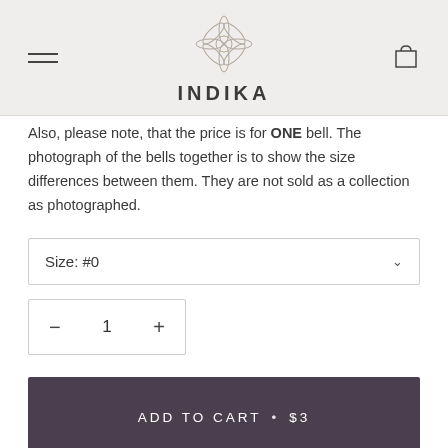INDIKA
Also, please note, that the price is for ONE bell. The photograph of the bells together is to show the size differences between them. They are not sold as a collection as photographed.
Size: #0
1
ADD TO CART • $3